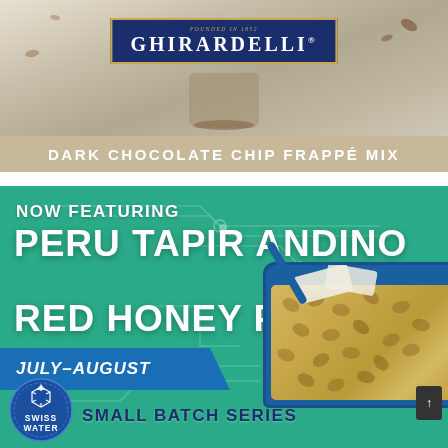[Figure (photo): Ghirardelli Dark Chocolate Chip Frappé Mix advertisement banner showing the Ghirardelli logo on navy blue background with gold border, chocolate drink, and cocoa nibs on a tan/beige background]
[Figure (infographic): Now Featuring Peru Tapir Andino Red Honey FTO coffee promotion on teal/green background with circuit-line design, blue tray of green coffee beans, Swiss Water badge, and Small Batch Series text. July-August availability noted on blue diagonal banner.]